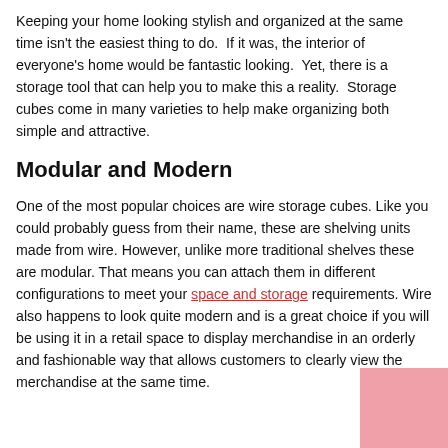Keeping your home looking stylish and organized at the same time isn't the easiest thing to do.  If it was, the interior of everyone's home would be fantastic looking.  Yet, there is a storage tool that can help you to make this a reality.  Storage cubes come in many varieties to help make organizing both simple and attractive.
Modular and Modern
One of the most popular choices are wire storage cubes. Like you could probably guess from their name, these are shelving units made from wire. However, unlike more traditional shelves these are modular. That means you can attach them in different configurations to meet your space and storage requirements. Wire also happens to look quite modern and is a great choice if you will be using it in a retail space to display merchandise in an orderly and fashionable way that allows customers to clearly view the merchandise at the same time.